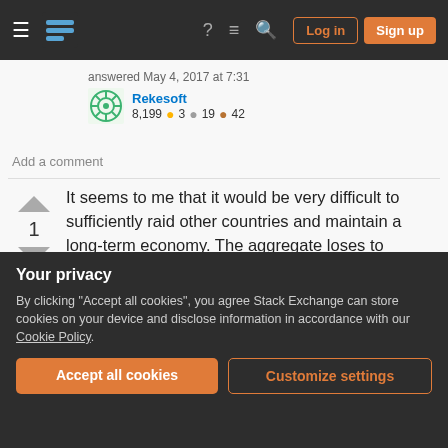Stack Exchange navigation bar with Log in and Sign up buttons
answered May 4, 2017 at 7:31
Rekesoft 8,199 ● 3 ● 19 ● 42
Add a comment
It seems to me that it would be very difficult to sufficiently raid other countries and maintain a long-term economy. The aggregate loses to surrounding countries due to raiding would have to sum to a reasonable GDP/cap (not really a GDP but the point is clear) for that nation (I'm making an assumption
Your privacy
By clicking "Accept all cookies", you agree Stack Exchange can store cookies on your device and disclose information in accordance with our Cookie Policy.
Accept all cookies
Customize settings
average GDP to offset the income instability.